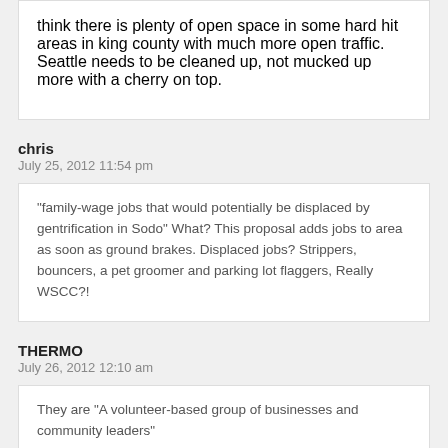think there is plenty of open space in some hard hit areas in king county with much more open traffic. Seattle needs to be cleaned up, not mucked up more with a cherry on top.
chris
July 25, 2012 11:54 pm
“family-wage jobs that would potentially be displaced by gentrification in Sodo” What? This proposal adds jobs to area as soon as ground brakes. Displaced jobs? Strippers, bouncers, a pet groomer and parking lot flaggers, Really WSCC?!
THERMO
July 26, 2012 12:10 am
They are “A volunteer-based group of businesses and community leaders”

Did I miss a community meeting on this? Are you the same people that like building all the condos in the junction? Why do you get to speak for the community? Can I volunteer and join?